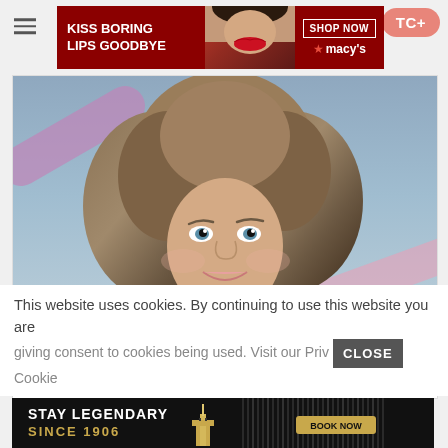[Figure (screenshot): Macy's advertisement banner: dark red background with 'KISS BORING LIPS GOODBYE' text on left, woman's face with red lips in center, 'SHOP NOW' box and Macy's star logo on right]
[Figure (photo): Photo of a smiling woman with voluminous curly blonde/brown hair from the 1990s era, blue eyes, wearing minimal clothing against a blue-purple background]
90s Stunners Who Still Look Gorgeous
More...
This website uses cookies. By continuing to use this website you are giving consent to cookies being used. Visit our Priv Cookie
[Figure (screenshot): Golden Gate Hotel advertisement: black background with 'STAY LEGENDARY SINCE 1906' text in white and gold, hotel building logo in center, 'BOOK NOW' button and decorative gold lines on right]